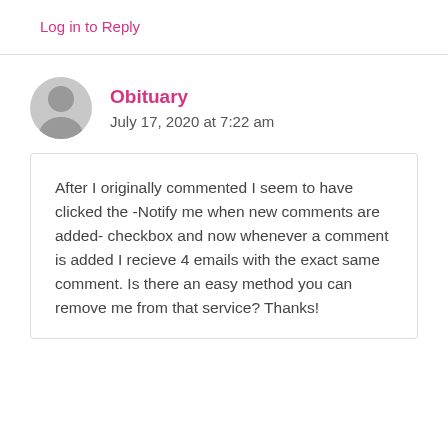Log in to Reply
Obituary
July 17, 2020 at 7:22 am
After I originally commented I seem to have clicked the -Notify me when new comments are added- checkbox and now whenever a comment is added I recieve 4 emails with the exact same comment. Is there an easy method you can remove me from that service? Thanks!